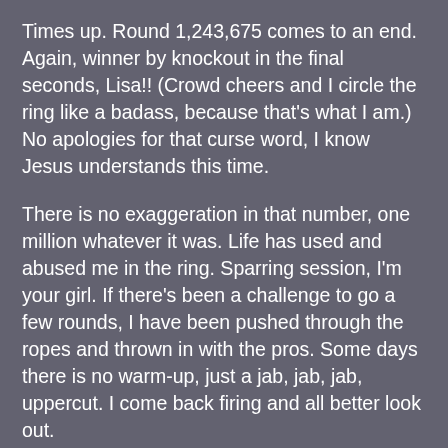Times up. Round 1,243,675 comes to an end. Again, winner by knockout in the final seconds, Lisa!! (Crowd cheers and I circle the ring like a badass, because that's what I am.) No apologies for that curse word, I know Jesus understands this time.
There is no exaggeration in that number, one million whatever it was. Life has used and abused me in the ring. Sparring session, I'm your girl. If there's been a challenge to go a few rounds, I have been pushed through the ropes and thrown in with the pros. Some days there is no warm-up, just a jab, jab, jab, uppercut. I come back firing and all better look out.
I am a CHRISTIAN WOMAN. I am infused with the blood of the Father. Through my veins rolls power that knows no defeat. If I go down, if I hit the mat face first, I hear my own personal Mickey say, "Get up, because Jesus loves